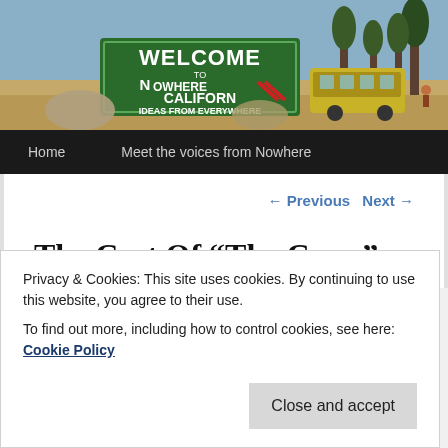[Figure (photo): Desert scene with a green sign reading 'Welcome to Nowhere California - Ideas from Everywhere' and an old yellow bus in a barren landscape with trees]
Home    Meet the voices from Nowhere
← Previous    Next →
The Cast Of “The Crow”
Privacy & Cookies: This site uses cookies. By continuing to use this website, you agree to their use.
To find out more, including how to control cookies, see here: Cookie Policy
Close and accept